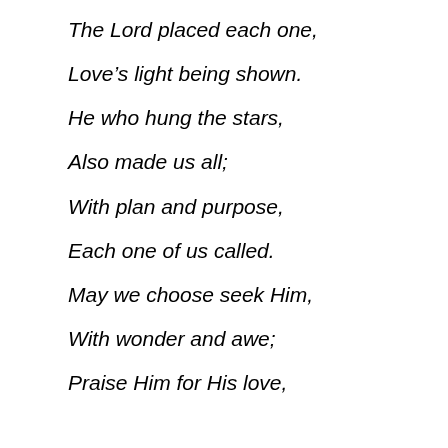The Lord placed each one,
Love's light being shown.
He who hung the stars,
Also made us all;
With plan and purpose,
Each one of us called.
May we choose seek Him,
With wonder and awe;
Praise Him for His love,